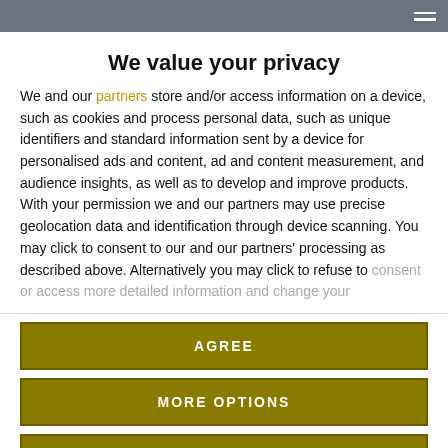We value your privacy
We and our partners store and/or access information on a device, such as cookies and process personal data, such as unique identifiers and standard information sent by a device for personalised ads and content, ad and content measurement, and audience insights, as well as to develop and improve products. With your permission we and our partners may use precise geolocation data and identification through device scanning. You may click to consent to our and our partners' processing as described above. Alternatively you may click to refuse to consent or access more detailed information and change your
AGREE
MORE OPTIONS
DISAGREE